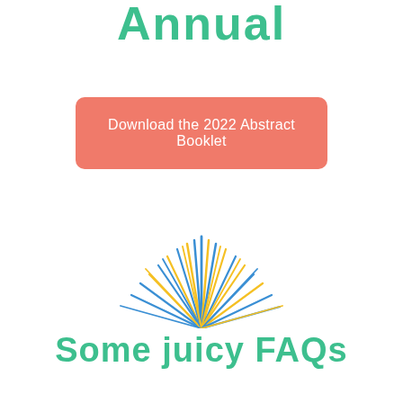Annual
Download the 2022 Abstract Booklet
[Figure (illustration): Sunburst/rays decoration graphic with alternating blue and yellow radiating lines in a semicircle arc]
Some juicy FAQs